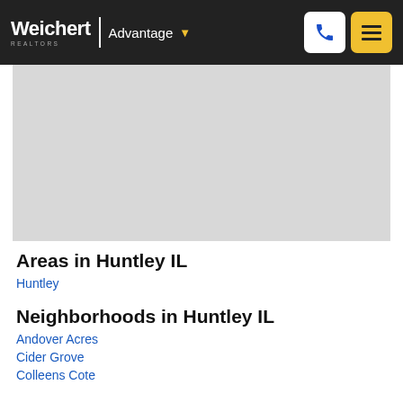Weichert REALTORS | Advantage
[Figure (map): Gray map placeholder for Huntley IL area]
Areas in Huntley IL
Huntley
Neighborhoods in Huntley IL
Andover Acres
Cider Grove
Colleens Cote